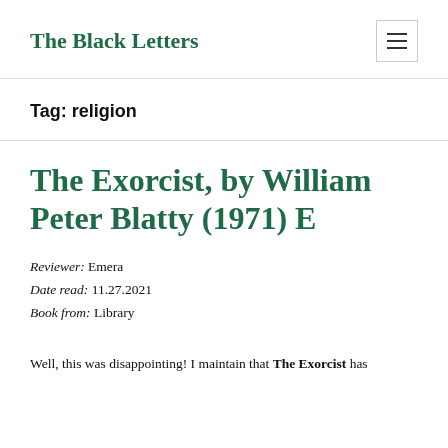The Black Letters
Tag: religion
The Exorcist, by William Peter Blatty (1971) E
Reviewer: Emera
Date read: 11.27.2021
Book from: Library
Well, this was disappointing! I maintain that The Exorcist has